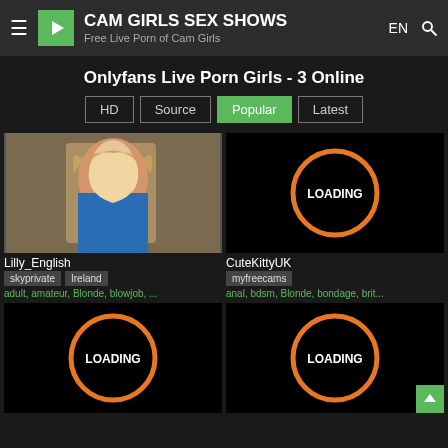CAM GIRLS SEX SHOWS - Free Live Porn of Cam Girls
Onlyfans Live Porn Girls - 3 Online
HD | Source | Popular | Latest
[Figure (photo): Blonde woman in blue lingerie]
Lilly_English
skyprivate Ireland
adult, amateur, Blonde, blowjob, ...
[Figure (other): Loading placeholder with orange circle]
CuteKittyUK
myfreecams
anal, bdsm, Blonde, bondage, brit...
[Figure (other): Loading placeholder with orange circle]
[Figure (other): Loading placeholder with orange circle]